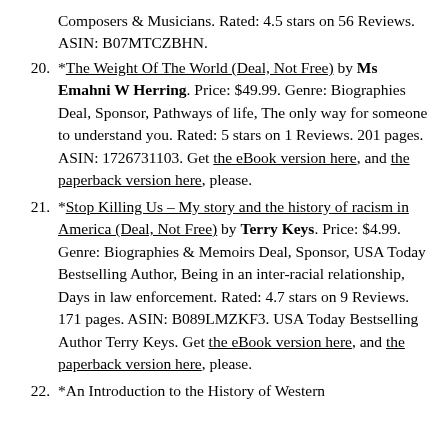Composers & Musicians. Rated: 4.5 stars on 56 Reviews. ASIN: B07MTCZBHN.
20. *The Weight Of The World (Deal, Not Free) by Ms Emahni W Herring. Price: $49.99. Genre: Biographies Deal, Sponsor, Pathways of life, The only way for someone to understand you. Rated: 5 stars on 1 Reviews. 201 pages. ASIN: 1726731103. Get the eBook version here, and the paperback version here, please.
21. *Stop Killing Us – My story and the history of racism in America (Deal, Not Free) by Terry Keys. Price: $4.99. Genre: Biographies & Memoirs Deal, Sponsor, USA Today Bestselling Author, Being in an inter-racial relationship, Days in law enforcement. Rated: 4.7 stars on 9 Reviews. 171 pages. ASIN: B089LMZKF3. USA Today Bestselling Author Terry Keys. Get the eBook version here, and the paperback version here, please.
22. *An Introduction to the History of Western